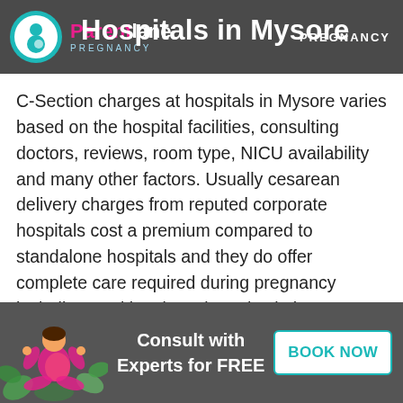Hospitals in Mysore — PREGNANCY
C-Section charges at hospitals in Mysore varies based on the hospital facilities, consulting doctors, reviews, room type, NICU availability and many other factors. Usually cesarean delivery charges from reputed corporate hospitals cost a premium compared to standalone hospitals and they do offer complete care required during pregnancy including nutrition, lactation, physiotherapy support which may be required to provide best maternity care. You can check out the c-section delivery cost of hospitals in Mysore below for Private, Semi-Private rooms, with
[Figure (illustration): Pregnant woman sitting in meditation pose with plants around her, used in bottom CTA banner]
Consult with Experts for FREE
BOOK NOW